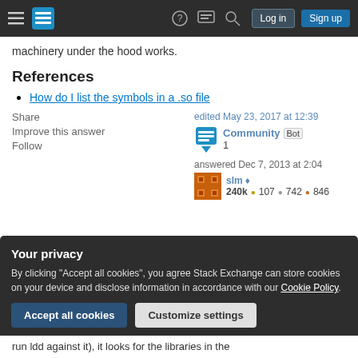Stack Exchange navigation bar with Log in and Sign up buttons
machinery under the hood works.
References
How do I list the symbols in a .so file
Share
Improve this answer
Follow
edited May 23, 2017 at 12:39
Community Bot
1
answered Dec 7, 2013 at 2:04
slm ◆
240k  107  742  846
Your privacy
By clicking "Accept all cookies", you agree Stack Exchange can store cookies on your device and disclose information in accordance with our Cookie Policy.
Accept all cookies  Customize settings
run ldd against it), it looks for the libraries in the